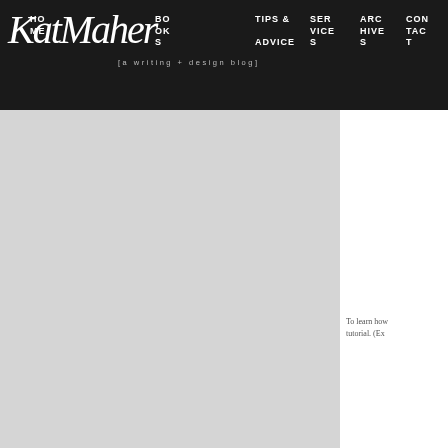KatMaher [a writing + design blog] HOME | BOOKS & ADVICE | SERVICES | ARCHIVES | CONTACT
[Figure (other): Gray placeholder content area on the left side below navigation]
[Figure (other): White sidebar area on the right side below navigation]
To learn how tutorial. (Ex